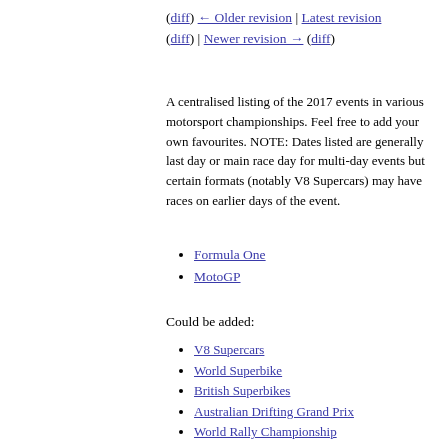(diff) ← Older revision | Latest revision (diff) | Newer revision → (diff)
A centralised listing of the 2017 events in various motorsport championships. Feel free to add your own favourites. NOTE: Dates listed are generally last day or main race day for multi-day events but certain formats (notably V8 Supercars) may have races on earlier days of the event.
Formula One
MotoGP
Could be added:
V8 Supercars
World Superbike
British Superbikes
Australian Drifting Grand Prix
World Rally Championship
AMA Superbike (USA domestic series)
American Lemans Series